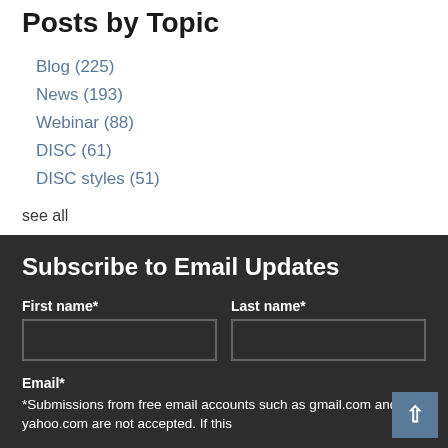Posts by Topic
Blog (225)
News (193)
Webinar (88)
DISC (61)
DISC styles (51)
see all
Subscribe to Email Updates
First name*
Last name*
Email*
*Submissions from free email accounts such as gmail.com and yahoo.com are not accepted. If this